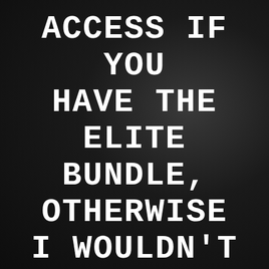ACCESS IF YOU HAVE THE ELITE BUNDLE, OTHERWISE I WOULDN'T SELL IT TO YOU
This course can be used for multiple things, improving your fashion, for daygame, tips to make more money
One student make 10.9k copywriting… the